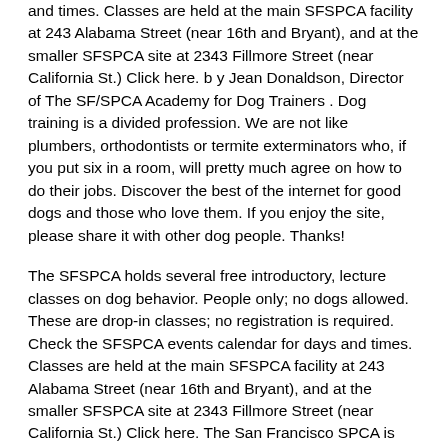and times. Classes are held at the main SFSPCA facility at 243 Alabama Street (near 16th and Bryant), and at the smaller SFSPCA site at 2343 Fillmore Street (near California St.) Click here. b y Jean Donaldson, Director of The SF/SPCA Academy for Dog Trainers . Dog training is a divided profession. We are not like plumbers, orthodontists or termite exterminators who, if you put six in a room, will pretty much agree on how to do their jobs. Discover the best of the internet for good dogs and those who love them. If you enjoy the site, please share it with other dog people. Thanks!
The SFSPCA holds several free introductory, lecture classes on dog behavior. People only; no dogs allowed. These are drop-in classes; no registration is required. Check the SFSPCA events calendar for days and times. Classes are held at the main SFSPCA facility at 243 Alabama Street (near 16th and Bryant), and at the smaller SFSPCA site at 2343 Fillmore Street (near California St.) Click here. The San Francisco SPCA is dedicated to saving, protecting, caring, and advocating for animals. We are a nationally-recognized leader in animal welfare, with a history of innovation in animal care, animal rights, and proactive prevention programs. SF SPCA – Pacific Heights Campus Appointments: 8am – 6pm Temporary Emergency Services Hours: 7am – 12am 2343 Fillmore Street San Francisco, CA 94115 415.554.3000